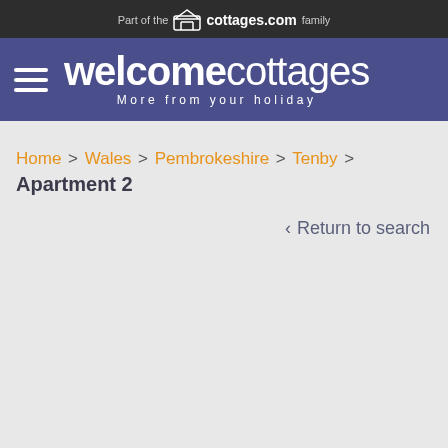Part of the cottages.com family
[Figure (logo): welcomecottages logo with tagline 'More from your holiday' on purple/navy background with hamburger menu icon]
Home > Wales > Pembrokeshire > Tenby > Apartment 2
Apartment 2
< Return to search